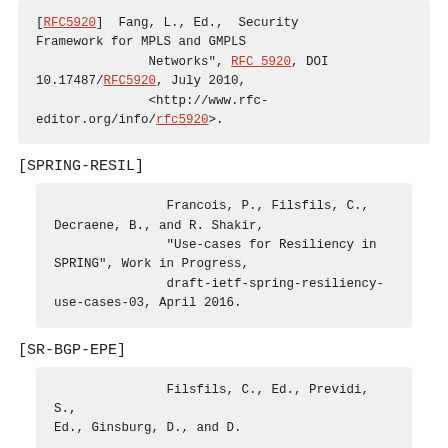[RFC5920]  Fang, L., Ed.,  Security Framework for MPLS and GMPLS Networks", RFC 5920, DOI 10.17487/RFC5920, July 2010, <http://www.rfc-editor.org/info/rfc5920>.
[SPRING-RESIL]
Francois, P., Filsfils, C., Decraene, B., and R. Shakir, "Use-cases for Resiliency in SPRING", Work in Progress, draft-ietf-spring-resiliency-use-cases-03, April 2016.
[SR-BGP-EPE]
Filsfils, C., Ed., Previdi, S., Ed., Ginsburg, D., and D.